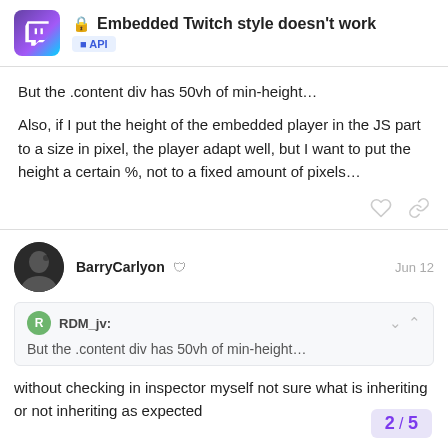Embedded Twitch style doesn't work | API
But the .content div has 50vh of min-height…
Also, if I put the height of the embedded player in the JS part to a size in pixel, the player adapt well, but I want to put the height a certain %, not to a fixed amount of pixels…
BarryCarlyon Jun 12
RDM_jv: But the .content div has 50vh of min-height…
without checking in inspector myself not sure what is inheriting or not inheriting as expected
2 / 5